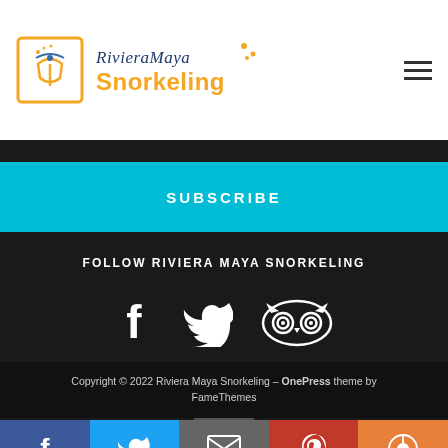Riviera Maya Snorkeling
SUBSCRIBE
FOLLOW RIVIERA MAYA SNORKELING
[Figure (illustration): Social media icons: Facebook (f), Twitter (bird), TripAdvisor (owl)]
Copyright © 2022 Riviera Maya Snorkeling – OnePress theme by FameThemes
[Figure (infographic): Bottom share bar with Facebook, Twitter, Email, Pinterest, and chat/messenger icons]